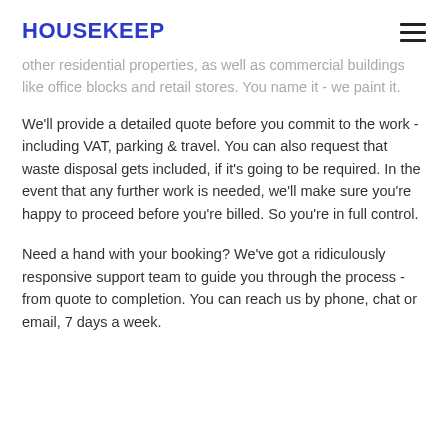HOUSEKEEP
other residential properties, as well as commercial buildings like office blocks and retail stores. You name it - we paint it.
We'll provide a detailed quote before you commit to the work - including VAT, parking & travel. You can also request that waste disposal gets included, if it's going to be required. In the event that any further work is needed, we'll make sure you're happy to proceed before you're billed. So you're in full control.
Need a hand with your booking? We've got a ridiculously responsive support team to guide you through the process - from quote to completion. You can reach us by phone, chat or email, 7 days a week.